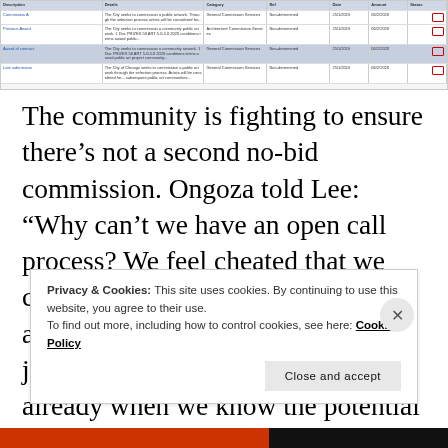[Figure (screenshot): Partial screenshot of a data table showing multiple rows with columns for various fields. Rows are highlighted in alternating colors (blue-gray and white) with red outlined boxes in the rightmost column. Text is very small and partially legible.]
The community is fighting to ensure there’s not a second no-bid commission. Ongoza told Lee: “Why can’t we have an open call process? We feel cheated that we can’t get a chance see what other artists could offer up for us. We’re just locked into what we’ve seen already when we know the potential of others is also just as great.”
Privacy & Cookies: This site uses cookies. By continuing to use this website, you agree to their use.
To find out more, including how to control cookies, see here: Cookie Policy
Close and accept